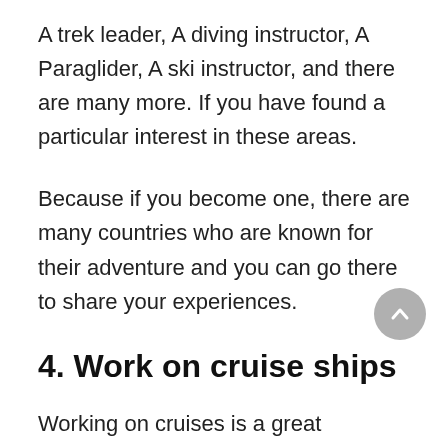A trek leader, A diving instructor, A Paraglider, A ski instructor, and there are many more. If you have found a particular interest in these areas.
Because if you become one, there are many countries who are known for their adventure and you can go there to share your experiences.
4. Work on cruise ships
Working on cruises is a great opportunity for you to see the world and making money. There is a lot to do in the cruise job. You will